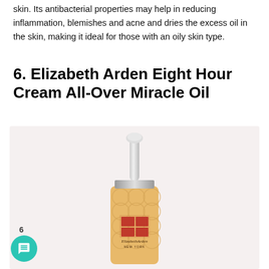skin. Its antibacterial properties may help in reducing inflammation, blemishes and acne and dries the excess oil in the skin, making it ideal for those with an oily skin type.
6. Elizabeth Arden Eight Hour Cream All-Over Miracle Oil
[Figure (photo): Elizabeth Arden Eight Hour Cream All-Over Miracle Oil product bottle — a golden/amber colored spray bottle with silver pump top and silver collar, featuring the Elizabeth Arden New York branding and logo on a light pinkish-grey background.]